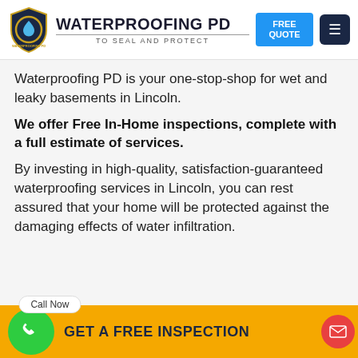[Figure (logo): Waterproofing PD logo with shield icon containing water drop, brand name and tagline]
Waterproofing PD is your one-stop-shop for wet and leaky basements in Lincoln.
We offer Free In-Home inspections, complete with a full estimate of services.
By investing in high-quality, satisfaction-guaranteed waterproofing services in Lincoln, you can rest assured that your home will be protected against the damaging effects of water infiltration.
GET A FREE INSPECTION